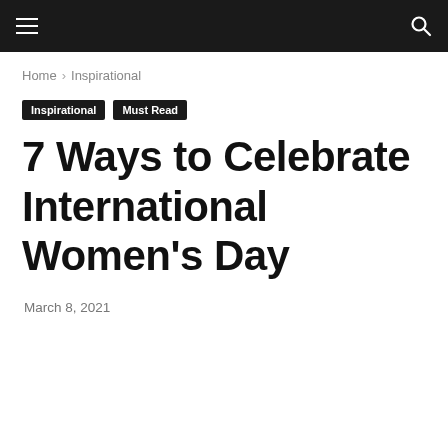Navigation bar with hamburger menu and search icon
Home › Inspirational
Inspirational  Must Read
7 Ways to Celebrate International Women's Day
March 8, 2021